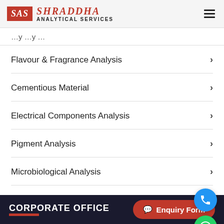SAS SHRADDHA ANALYTICAL SERVICES
Flavour & Fragrance Analysis
Cementious Material
Electrical Components Analysis
Pigment Analysis
Microbiological Analysis
CORPORATE OFFICE   Enquiry Form